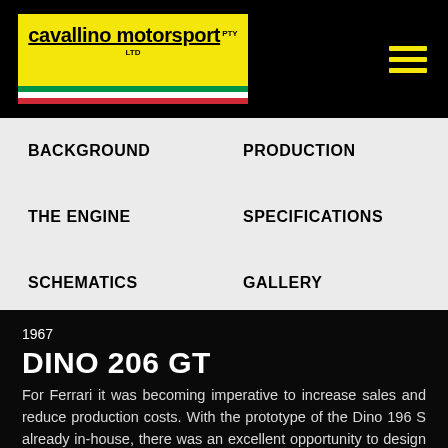[Figure (logo): Cavallino Motorsport PTY LTD logo on yellow background with Italian flag stripe at bottom]
BACKGROUND
PRODUCTION
THE ENGINE
SPECIFICATIONS
SCHEMATICS
GALLERY
1967
DINO 206 GT
For Ferrari it was becoming imperative to increase sales and reduce production costs. With the prototype of the Dino 196 S already in-house, there was an excellent opportunity to design a relatively